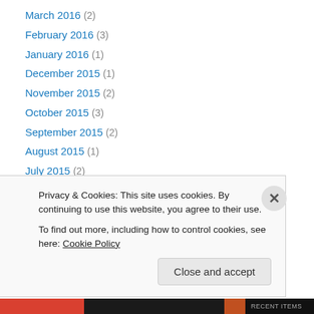March 2016 (2)
February 2016 (3)
January 2016 (1)
December 2015 (1)
November 2015 (2)
October 2015 (3)
September 2015 (2)
August 2015 (1)
July 2015 (2)
June 2015 (6)
May 2015 (2)
April 2015 (4)
March 2015 (1)
Privacy & Cookies: This site uses cookies. By continuing to use this website, you agree to their use. To find out more, including how to control cookies, see here: Cookie Policy